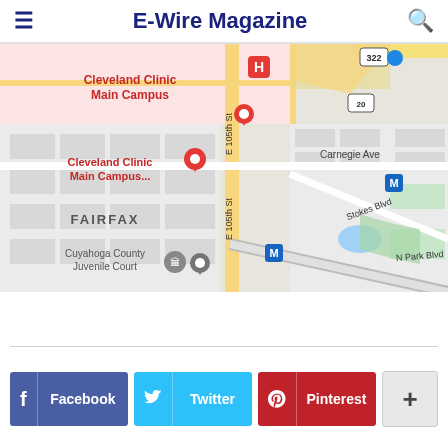E-Wire Magazine
[Figure (map): Google Maps view showing Cleveland Clinic Main Campus area in Cleveland, Ohio. Map shows E 105th St running vertically, Carnegie Ave, Stokes Blvd, N Park Blvd, FAIRFAX neighborhood label, Cuyahoga County Juvenile Court marker, metro station markers, route 322 and US 20 signs, and hospital marker (H) for Cleveland Clinic Main Campus.]
Facebook  Twitter  Pinterest  +